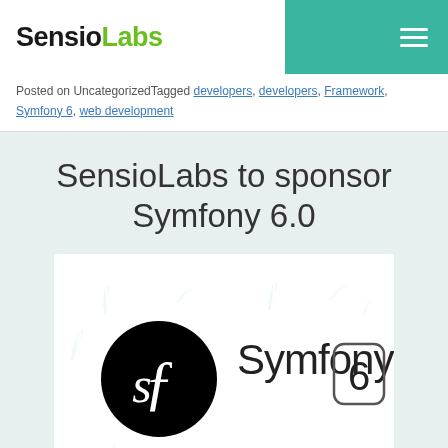SensioLabs
Posted on UncategorizedTagged developers, developers, Framework, Symfony 6, web development
SensioLabs to sponsor Symfony 6.0
[Figure (logo): Symfony 6 logo — black circle with stylized 'sf' monogram on left, text 'Symfony' and a rounded-rectangle containing '6' on right, on white background with scattered light-blue Symfony feather icons]